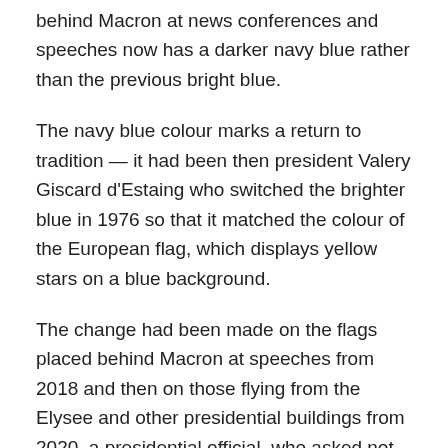behind Macron at news conferences and speeches now has a darker navy blue rather than the previous bright blue.
The navy blue colour marks a return to tradition — it had been then president Valery Giscard d'Estaing who switched the brighter blue in 1976 so that it matched the colour of the European flag, which displays yellow stars on a blue background.
The change had been made on the flags placed behind Macron at speeches from 2018 and then on those flying from the Elysee and other presidential buildings from 2020, a presidential official, who asked not to be named, told AFP on Monday.
The official said that the navy blue colour “evokes the memory” of the heroes who fought in the French Revolution, the